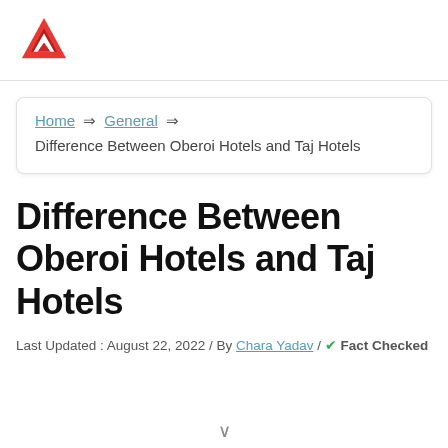[Figure (logo): Red and dark stylized triangle/arrow logo resembling the letter A]
Home ⇒ General ⇒ Difference Between Oberoi Hotels and Taj Hotels
Difference Between Oberoi Hotels and Taj Hotels
Last Updated : August 22, 2022 / By Chara Yadav / ✔ Fact Checked